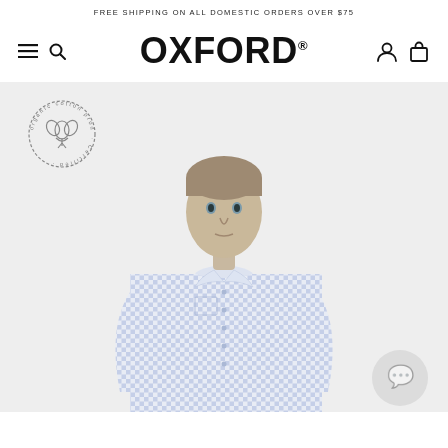FREE SHIPPING ON ALL DOMESTIC ORDERS OVER $75
OXFORD®
[Figure (photo): Man wearing a blue and white checkered Oxford dress shirt, with an Organic Cotton certified badge overlay in the top left, and a chat bubble icon in the bottom right corner.]